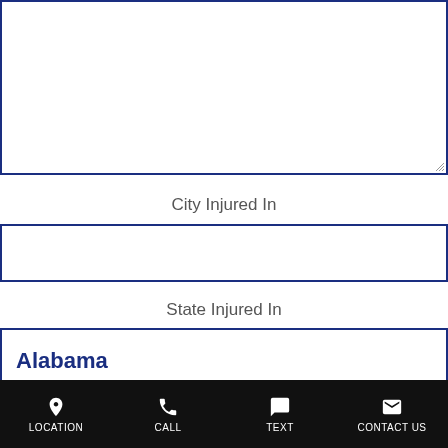[Figure (screenshot): Empty textarea input field with blue border and resize handle]
City Injured In
[Figure (screenshot): Empty text input field with blue border for city]
State Injured In
[Figure (screenshot): Dropdown select field with blue border showing 'Alabama' selected in bold blue text]
LOCATION  CALL  TEXT  CONTACT US